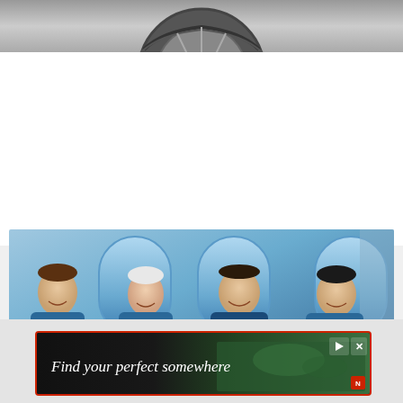[Figure (photo): Black and white close-up photo of a car wheel/tire at the top of the page]
STAFF PICKS
DESCRIBING CHAOS - JOAN DIDION (1934-2021)
[Figure (photo): Four people wearing blue jumpsuits posing inside what appears to be a spacecraft capsule with oval windows in the background]
[Figure (screenshot): Advertisement banner reading 'Find your perfect somewhere' with a dark background showing aerial/landscape imagery, red border, and play/close control buttons]